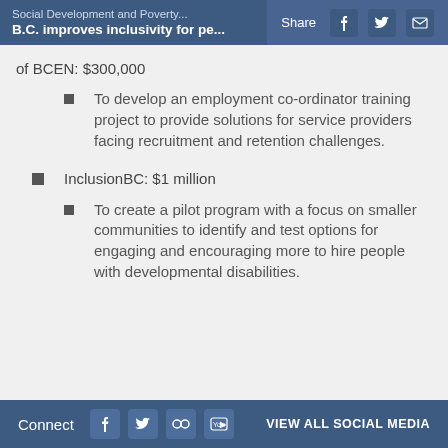Social Development and Poverty... | Share | B.C. improves inclusivity for pe...
of BCEN: $300,000
To develop an employment co-ordinator training project to provide solutions for service providers facing recruitment and retention challenges.
InclusionBC: $1 million
To create a pilot program with a focus on smaller communities to identify and test options for engaging and encouraging more to hire people with developmental disabilities.
Connect | VIEW ALL SOCIAL MEDIA